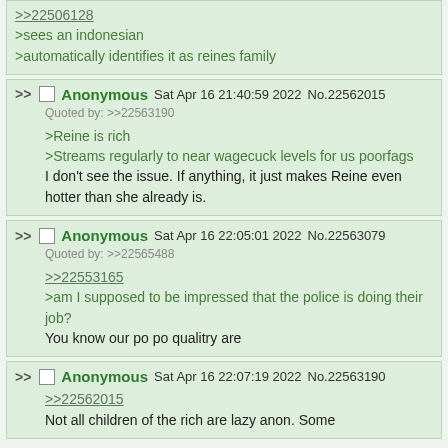>>22506128
>sees an indonesian
>automatically identifies it as reines family
Anonymous Sat Apr 16 21:40:59 2022 No.22562015
Quoted by: >>22563190
>Reine is rich
>Streams regularly to near wagecuck levels for us poorfags
I don't see the issue. If anything, it just makes Reine even hotter than she already is.
Anonymous Sat Apr 16 22:05:01 2022 No.22563079
Quoted by: >>22565488
>>22553165
>am I supposed to be impressed that the police is doing their job?
You know our po po qualitry are
Anonymous Sat Apr 16 22:07:19 2022 No.22563190
>>22562015
Not all children of the rich are lazy anon. Some